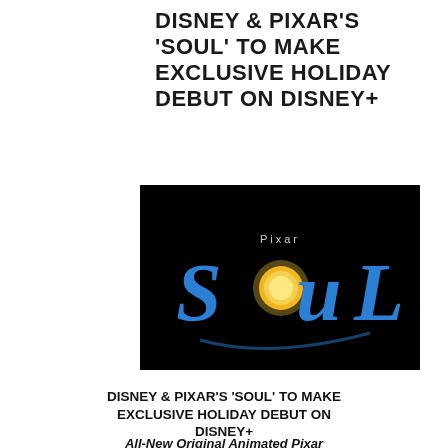DISNEY & PIXAR'S 'SOUL' TO MAKE EXCLUSIVE HOLIDAY DEBUT ON DISNEY+
[Figure (illustration): Movie logo for Disney & Pixar's 'Soul' — the word SOUL in large stylized blue letters with a glowing yellow-orange sun replacing the O, on a black background. Above the logo text reads 'Pixar' in small letters.]
DISNEY & PIXAR'S 'SOUL' TO MAKE EXCLUSIVE HOLIDAY DEBUT ON DISNEY+
All-New Original Animated Pixar